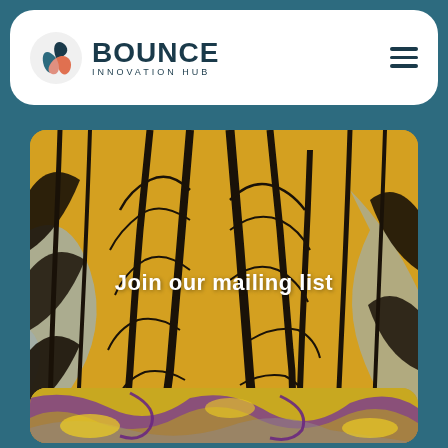[Figure (logo): Bounce Innovation Hub logo with circular icon in teal/orange and hamburger menu icon]
[Figure (photo): Close-up photo of yellow and black leaf/plant pattern artwork with text 'Join our mailing list' overlaid in white]
Join our mailing list
[Figure (photo): Close-up of colorful abstract artwork with yellow, purple, and gray swirling patterns]